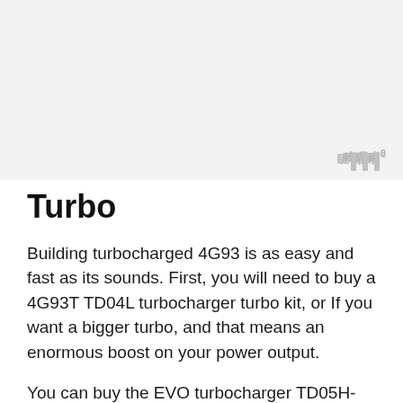[Figure (photo): Gray placeholder image area at the top of the page with a small watermark icon in the bottom-right corner]
Turbo
Building turbocharged 4G93 is as easy and fast as its sounds. First, you will need to buy a 4G93T TD04L turbocharger turbo kit, or If you want a bigger turbo, and that means an enormous boost on your power output.
You can buy the EVO turbocharger TD05H-16G with a large intercooler, an EVO throttle body, Walbro 255 fuel pump, 630 cc fuel injectors, turbo manifold, fuel rail, 2-inch piping, and a 2.5-inch performance exhaust